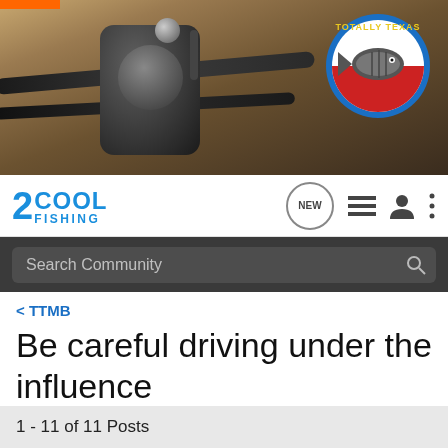[Figure (screenshot): Website header with fishing reel/rod photo and Totally Texas logo badge]
[Figure (logo): 2Cool Fishing website logo with navigation icons including NEW, list, profile, and menu icons]
Search Community
< TTMB
Be careful driving under the influence
→ Jump to Latest
+ Follow
1 - 11 of 11 Posts